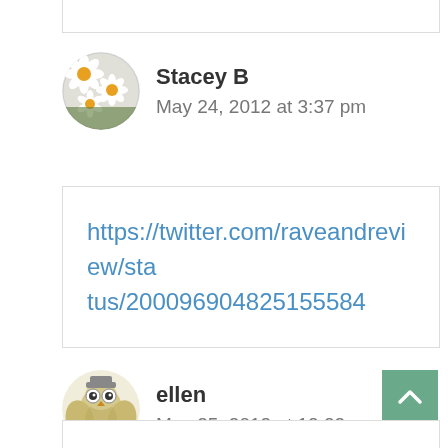Stacey B
May 24, 2012 at 3:37 pm
https://twitter.com/raveandreview/status/200096904825155584
ellen
May 25, 2012 at 12:22 am